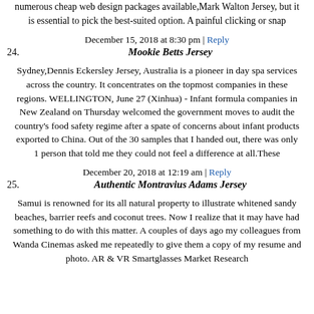numerous cheap web design packages available,Mark Walton Jersey, but it is essential to pick the best-suited option. A painful clicking or snap
December 15, 2018 at 8:30 pm | Reply
24. Mookie Betts Jersey
Sydney,Dennis Eckersley Jersey, Australia is a pioneer in day spa services across the country. It concentrates on the topmost companies in these regions. WELLINGTON, June 27 (Xinhua) - Infant formula companies in New Zealand on Thursday welcomed the government moves to audit the country's food safety regime after a spate of concerns about infant products exported to China. Out of the 30 samples that I handed out, there was only 1 person that told me they could not feel a difference at all.These
December 20, 2018 at 12:19 am | Reply
25. Authentic Montravius Adams Jersey
Samui is renowned for its all natural property to illustrate whitened sandy beaches, barrier reefs and coconut trees. Now I realize that it may have had something to do with this matter. A couples of days ago my colleagues from Wanda Cinemas asked me repeatedly to give them a copy of my resume and photo. AR & VR Smartglasses Market Research